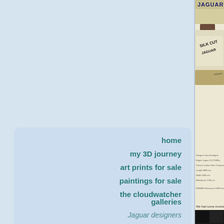home
my 3D journey
art prints for sale
paintings for sale
the cloudwatcher galleries
Jaguar designers
Jaguar history
magic marker
raytracing
re-engineering
sketchbook
watercolour
[Figure (photo): Jaguar Silk Cut racing car poster with car specifications and WINNER Silverstone 1000 Kms 1988 text, partially visible on right side of page]
We had some involvement with